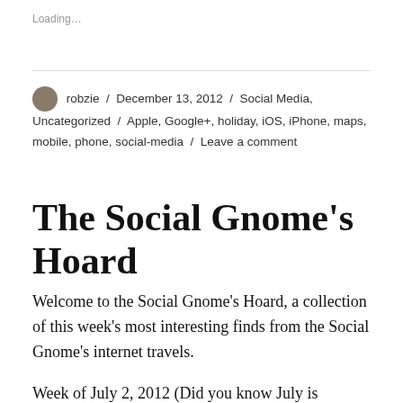Loading…
robzie / December 13, 2012 / Social Media, Uncategorized / Apple, Google+, holiday, iOS, iPhone, maps, mobile, phone, social-media / Leave a comment
The Social Gnome's Hoard
Welcome to the Social Gnome's Hoard, a collection of this week's most interesting finds from the Social Gnome's internet travels.
Week of July 2, 2012 (Did you know July is National Cell Phone Courtesy month? Also, the best month of